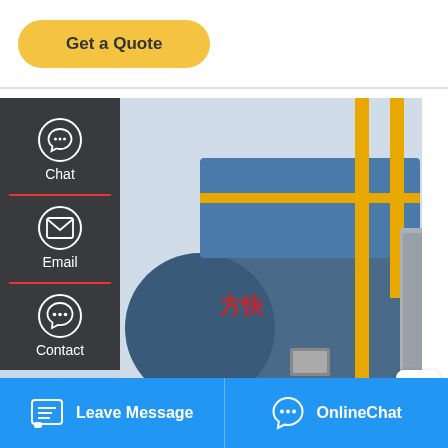Get a Quote
[Figure (photo): Industrial gas/oil boiler (方快 brand) in a factory setting with yellow structural frames, blue cylindrical boiler body with Chinese text, red burner assembly, and control panel on the right]
Chat
Email
Contact
iiler Fully Automatic
Save Stickers on WhatsApp
Leave Message   OnlineChat